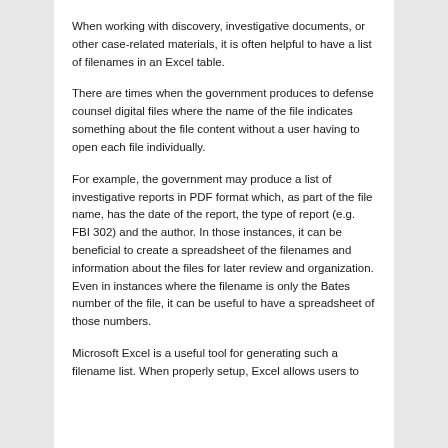When working with discovery, investigative documents, or other case-related materials, it is often helpful to have a list of filenames in an Excel table.
There are times when the government produces to defense counsel digital files where the name of the file indicates something about the file content without a user having to open each file individually.
For example, the government may produce a list of investigative reports in PDF format which, as part of the file name, has the date of the report, the type of report (e.g. FBI 302) and the author. In those instances, it can be beneficial to create a spreadsheet of the filenames and information about the files for later review and organization. Even in instances where the filename is only the Bates number of the file, it can be useful to have a spreadsheet of those numbers.
Microsoft Excel is a useful tool for generating such a filename list. When properly setup, Excel allows users to